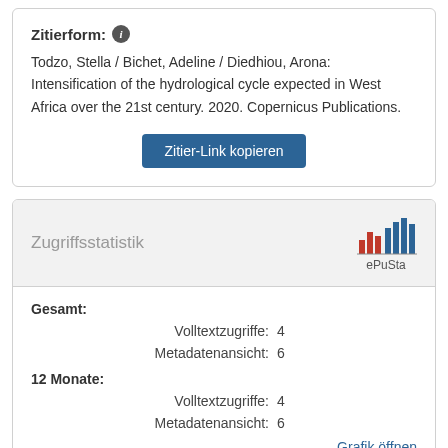Zitierform:
Todzo, Stella / Bichet, Adeline / Diedhiou, Arona: Intensification of the hydrological cycle expected in West Africa over the 21st century. 2020. Copernicus Publications.
Zitier-Link kopieren
Zugriffsstatistik
[Figure (logo): ePuSta bar chart logo with red and blue bars]
Gesamt:
Volltextzugriffe: 4
Metadatenansicht: 6
12 Monate:
Volltextzugriffe: 4
Metadatenansicht: 6
Grafik öffnen